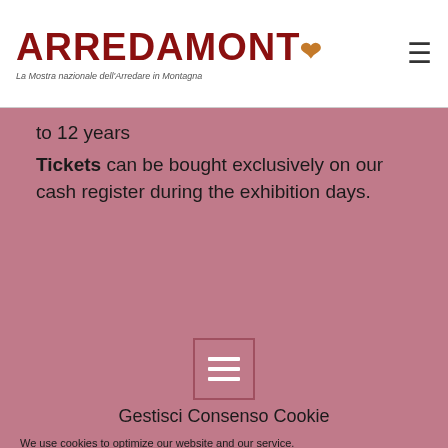ARREDAMONT – La Mostra nazionale dell'Arredare in Montagna
to 12 years
Tickets can be bought exclusively on our cash register during the exhibition days.
[Figure (illustration): Cookie consent icon – a square icon with three horizontal lines]
Gestisci Consenso Cookie
We use cookies to optimize our website and our service.
Accept cookies
Nega
View preferences